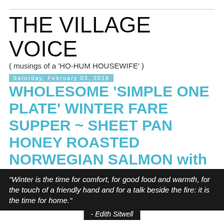THE VILLAGE VOICE
( musings of a 'HO-HUM HOUSEWIFE' )
Saturday, February 03, 2018
WHOLESOME 'SIMPLE ONE PLATE' WINTER FARE SUPPER ~ SHEET PAN HONEY ROASTED NORWEGIAN SALMON with BRUSSELS SPROUTS and RAINBOW CARROTS
"Winter is the time for comfort, for good food and warmth, for the touch of a friendly hand and for a talk beside the fire: it is the time for home."
- Edith Sitwell